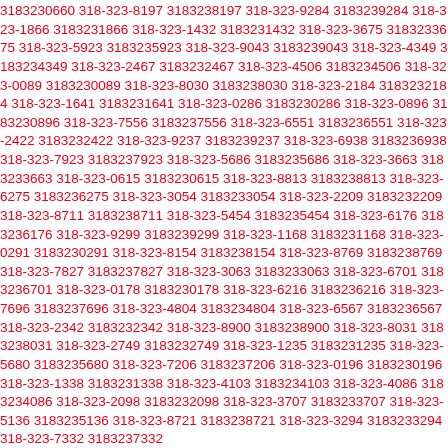3183230660 318-323-8197 3183238197 318-323-9284 3183239284 318-323-1866 3183231866 318-323-1432 3183231432 318-323-3675 3183233675 318-323-5923 3183235923 318-323-9043 3183239043 318-323-4349 3183234349 318-323-2467 3183232467 318-323-4506 3183234506 318-323-0089 3183230089 318-323-8030 3183238030 318-323-2184 3183232184 318-323-1641 3183231641 318-323-0286 3183230286 318-323-0896 3183230896 318-323-7556 3183237556 318-323-6551 3183236551 318-323-2422 3183232422 318-323-9237 3183239237 318-323-6938 3183236938 318-323-7923 3183237923 318-323-5686 3183235686 318-323-3663 3183233663 318-323-0615 3183230615 318-323-8813 3183238813 318-323-6275 3183236275 318-323-3054 3183233054 318-323-2209 3183232209 318-323-8711 3183238711 318-323-5454 3183235454 318-323-6176 3183236176 318-323-9299 3183239299 318-323-1168 3183231168 318-323-0291 3183230291 318-323-8154 3183238154 318-323-8769 3183238769 318-323-7827 3183237827 318-323-3063 3183233063 318-323-6701 3183236701 318-323-0178 3183230178 318-323-6216 3183236216 318-323-7696 3183237696 318-323-4804 3183234804 318-323-6567 3183236567 318-323-2342 3183232342 318-323-8900 3183238900 318-323-8031 3183238031 318-323-2749 3183232749 318-323-1235 3183231235 318-323-5680 3183235680 318-323-7206 3183237206 318-323-0196 3183230196 318-323-1338 3183231338 318-323-4103 3183234103 318-323-4086 3183234086 318-323-2098 3183232098 318-323-3707 3183233707 318-323-5136 3183235136 318-323-8721 3183238721 318-323-3294 3183233294 318-323-7332 3183237332